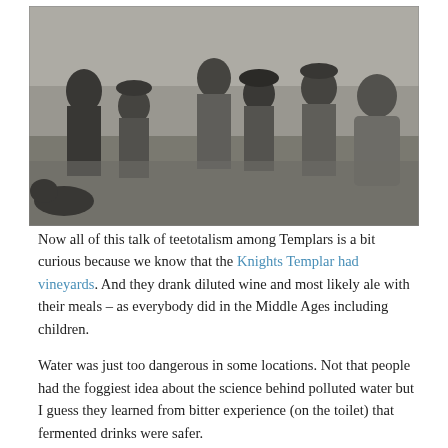[Figure (photo): A black and white vintage photograph showing a group of approximately seven people, men and women, sitting and lounging on grass outdoors. They are dressed in early 20th century clothing including hats and suspenders.]
Now all of this talk of teetotalism among Templars is a bit curious because we know that the Knights Templar had vineyards. And they drank diluted wine and most likely ale with their meals – as everybody did in the Middle Ages including children.
Water was just too dangerous in some locations. Not that people had the foggiest idea about the science behind polluted water but I guess they learned from bitter experience (on the toilet) that fermented drinks were safer.